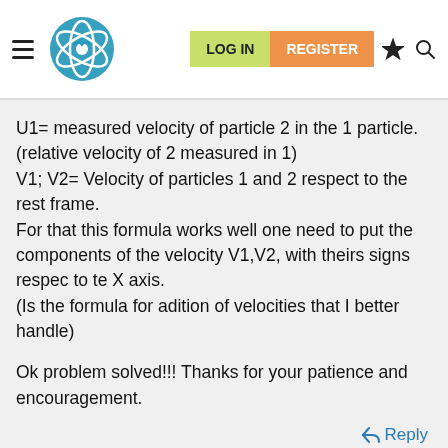LOG IN | REGISTER
U1= measured velocity of particle 2 in the 1 particle. (relative velocity of 2 measured in 1)
V1; V2= Velocity of particles 1 and 2 respect to the rest frame.
For that this formula works well one need to put the components of the velocity V1,V2, with theirs signs respec to te X axis.
(Is the formula for adition of velocities that I better handle)
Ok problem solved!!! Thanks for your patience and encouragement.